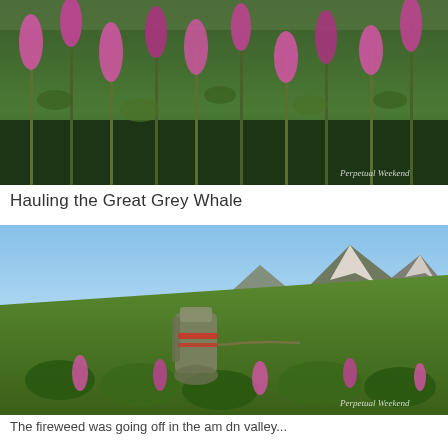[Figure (photo): Close-up photograph of pink/purple fireweed flowers in a lush green field with watermark 'Perpetual Weekend' in bottom right]
Hauling the Great Grey Whale
[Figure (photo): Landscape photograph of a large backpack being dragged through a hillside covered in fireweed and shrubs with snow-capped mountains in background; watermark 'Perpetual Weekend' in bottom right]
The fireweed was going off in the am dn valley...